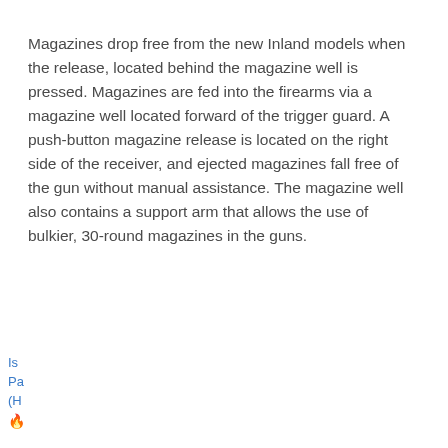Magazines drop free from the new Inland models when the release, located behind the magazine well is pressed. Magazines are fed into the firearms via a magazine well located forward of the trigger guard. A push-button magazine release is located on the right side of the receiver, and ejected magazines fall free of the gun without manual assistance. The magazine well also contains a support arm that allows the use of bulkier, 30-round magazines in the guns.
[Figure (screenshot): Promoted advertisement area with two video thumbnails side by side: left shows a dog image with play button, right shows a red/brown close-up image with play button. Below is a popup overlay card with an elderly man's photo and headline 'A Tragic End Today For Willie Nelson' with 'Breaking News' subtext. Bottom left shows partial text links.]